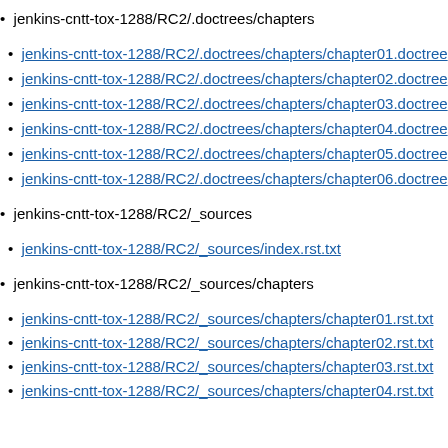jenkins-cntt-tox-1288/RC2/.doctrees/chapters
jenkins-cntt-tox-1288/RC2/.doctrees/chapters/chapter01.doctree
jenkins-cntt-tox-1288/RC2/.doctrees/chapters/chapter02.doctree
jenkins-cntt-tox-1288/RC2/.doctrees/chapters/chapter03.doctree
jenkins-cntt-tox-1288/RC2/.doctrees/chapters/chapter04.doctree
jenkins-cntt-tox-1288/RC2/.doctrees/chapters/chapter05.doctree
jenkins-cntt-tox-1288/RC2/.doctrees/chapters/chapter06.doctree
jenkins-cntt-tox-1288/RC2/_sources
jenkins-cntt-tox-1288/RC2/_sources/index.rst.txt
jenkins-cntt-tox-1288/RC2/_sources/chapters
jenkins-cntt-tox-1288/RC2/_sources/chapters/chapter01.rst.txt
jenkins-cntt-tox-1288/RC2/_sources/chapters/chapter02.rst.txt
jenkins-cntt-tox-1288/RC2/_sources/chapters/chapter03.rst.txt
jenkins-cntt-tox-1288/RC2/_sources/chapters/chapter04.rst.txt